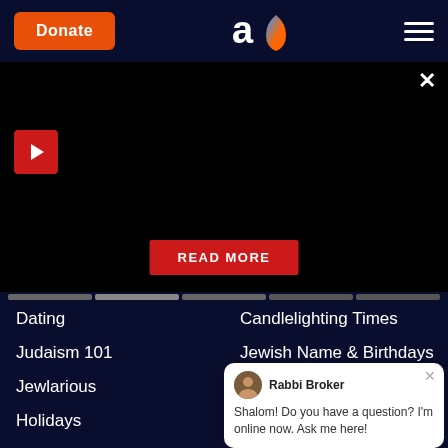Donate | Aish.com logo | Menu
[Figure (screenshot): Video player area with black background, play button (red triangle) top left, close X button top right, READ MORE red button centered below]
Dating
Candlelighting Times
Judaism 101
Jewish Name & Birthdays
Jewlarious
Kaddish Service
Holidays
Aish Audio
Videos
Rabbi Noah
Weekly Torah Portion
Seminars
Shabbat
Mobile App
Next Steps
About
Aish Academy
Contact